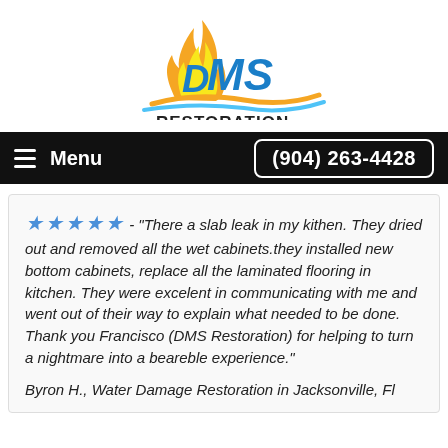[Figure (logo): DMS Restoration logo with flame and water wave graphics, text reads RESTORATION •FIRE •WATER •MOLD •ODOR CONTROL]
Menu  (904) 263-4428
★★★★★ - "There a slab leak in my kithen. They dried out and removed all the wet cabinets.they installed new bottom cabinets, replace all the laminated flooring in kitchen. They were excelent in communicating with me and went out of their way to explain what needed to be done. Thank you Francisco (DMS Restoration) for helping to turn a nightmare into a beareble experience."
Byron H., Water Damage Restoration in Jacksonville, Fl